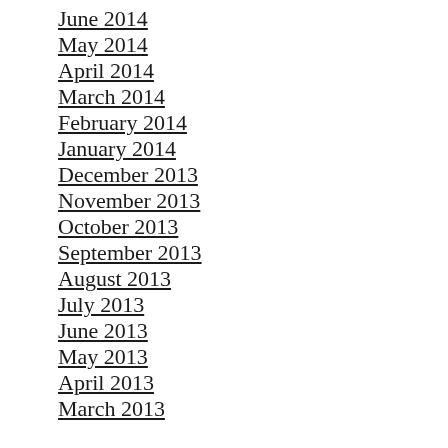June 2014
May 2014
April 2014
March 2014
February 2014
January 2014
December 2013
November 2013
October 2013
September 2013
August 2013
July 2013
June 2013
May 2013
April 2013
March 2013